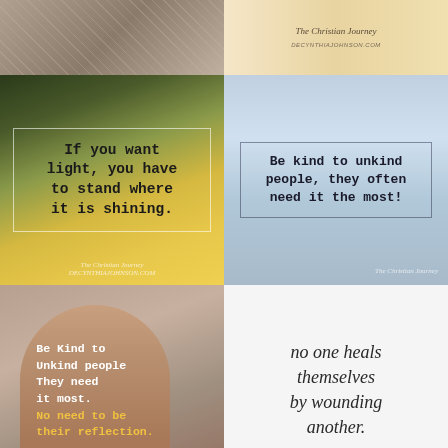[Figure (photo): Close-up photo of a baseball or stone texture on sandy/earthy surface]
[Figure (photo): Warm beige/cream background with decorative script text reading 'The Christian Journey' and URL 'DECYNTHIAJOHNSON.COM']
[Figure (illustration): Inspirational quote image with golden sunset field background. Quote in typewriter font: 'If you want light, you have to stand where it is shining.' Branded with 'The Christian Journey']
[Figure (illustration): Inspirational quote image with mountain/waterfall background and person sitting on rock. Quote: 'Be kind to unkind people, they often need it the most!' Branded with 'The Christian Journey']
[Figure (illustration): Photo of arched doorway/mirror with quote text: 'Be Kind to Unkind people They need it most. No need to be their reflection.' in white and gold typewriter font]
[Figure (illustration): White background with handwritten-style text: 'no one heals themselves by wounding another.']